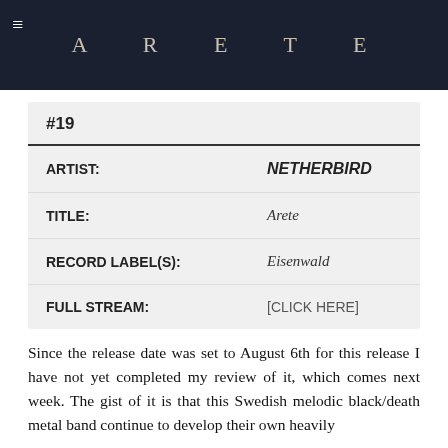[Figure (illustration): Dark atmospheric header image with cloudy/smoky background and the word 'ARETE' in spaced capital letters centered, with a hamburger menu icon on the left]
| #19 |  |
| ARTIST: | NETHERBIRD |
| TITLE: | Arete |
| RECORD LABEL(S): | Eisenwald |
| FULL STREAM: | [CLICK HERE] |
Since the release date was set to August 6th for this release I have not yet completed my review of it, which comes next week. The gist of it is that this Swedish melodic black/death metal band continue to develop their own heavily